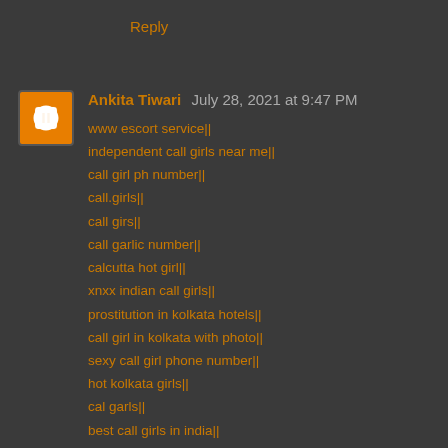Reply
Ankita Tiwari July 28, 2021 at 9:47 PM
www escort service||
independent call girls near me||
call girl ph number||
call.girls||
call girs||
call garlic number||
calcutta hot girl||
xnxx indian call girls||
prostitution in kolkata hotels||
call girl in kolkata with photo||
sexy call girl phone number||
hot kolkata girls||
cal garls||
best call girls in india||
escort girls near me||
call xnxx||
kolkata sexi girl||
house wife escorts||